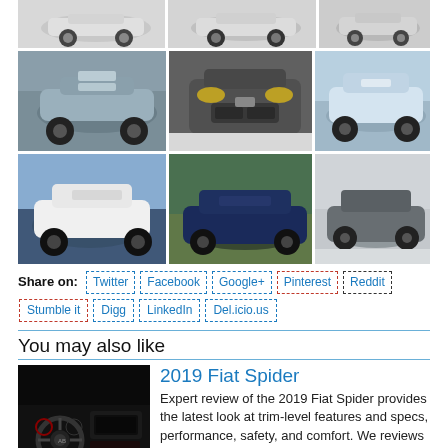[Figure (photo): Grid of BMW SUV car photos - top partial row showing 3 cars (white/silver SUVs)]
[Figure (photo): Grid row 2: three BMW X5 SUV photos - silver, camouflaged front in snow, white]
[Figure (photo): Grid row 3: three BMW X5 SUV photos - white drifting, dark blue on road, camouflaged in snow]
Share on: Twitter | Facebook | Google+ | Pinterest | Reddit | Stumble it | Digg | LinkedIn | Del.icio.us
You may also like
[Figure (photo): Interior photo of 2019 Fiat Spider showing dashboard and cockpit]
2019 Fiat Spider
Expert review of the 2019 Fiat Spider provides the latest look at trim-level features and specs, performance, safety, and comfort. We reviews the